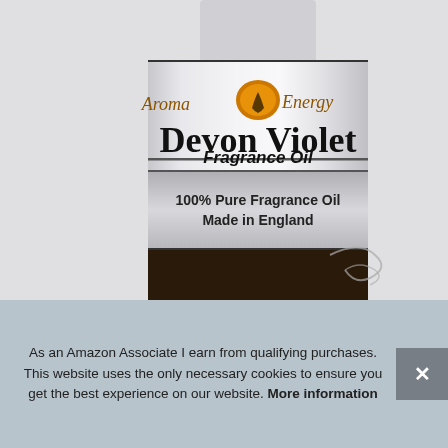[Figure (photo): Close-up of an Aroma Energy Devon Violet Fragrance Oil bottle label. The label features the Aroma Energy logo with a flame icon, the product name 'Devon Violet' in large bold serif font, 'Fragrance Oil' in bold italic, and '100% Pure Fragrance Oil Made in England' below. The bottle bottom is dark amber glass.]
As an Amazon Associate I earn from qualifying purchases. This website uses the only necessary cookies to ensure you get the best experience on our website. More information